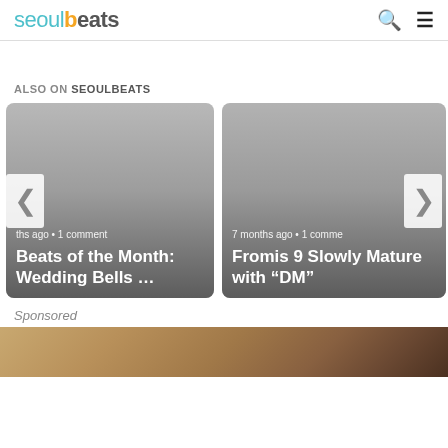seoulbeats
ALSO ON SEOULBEATS
[Figure (screenshot): Article card: '...ths ago • 1 comment' — 'Beats of the Month: Wedding Bells ...']
[Figure (screenshot): Article card: '7 months ago • 1 comme...' — 'Fromis 9 Slowly Mature with "DM"']
Sponsored
[Figure (photo): Sponsored image — sandy/earthy toned partial photo at bottom of page]